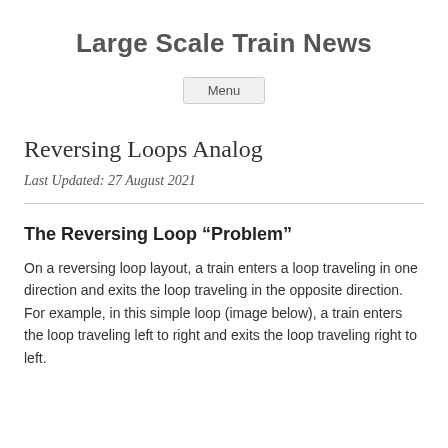Large Scale Train News
Menu
Reversing Loops Analog
Last Updated: 27 August 2021
The Reversing Loop “Problem”
On a reversing loop layout, a train enters a loop traveling in one direction and exits the loop traveling in the opposite direction. For example, in this simple loop (image below), a train enters the loop traveling left to right and exits the loop traveling right to left.